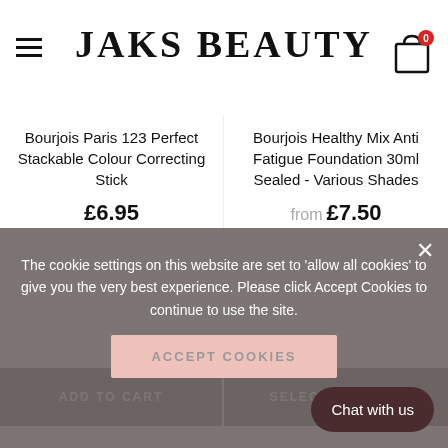JAKS BEAUTY
Bourjois Paris 123 Perfect Stackable Colour Correcting Stick
£6.95
Bourjois Healthy Mix Anti Fatigue Foundation 30ml Sealed - Various Shades
from £7.50
ADD TO CART
SELECT OPTIONS
The cookie settings on this website are set to 'allow all cookies' to give you the very best experience. Please click Accept Cookies to continue to use the site.
ACCEPT COOKIES
Chat with us